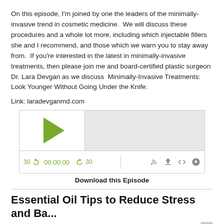On this episode, I'm joined by one the leaders of the minimally-invasive trend in cosmetic medicine. We will discuss these procedures and a whole lot more, including which injectable fillers she and I recommend, and those which we warn you to stay away from. If you're interested in the latest in minimally-invasive treatments, then please join me and board-certified plastic surgeon Dr. Lara Devgan as we discuss Minimally-Invasive Treatments: Look Younger Without Going Under the Knife.
Link: laradevganmd.com
[Figure (other): Podcast audio player with play button, progress bar, time display (00:00:00), skip controls (30s back, 30s forward), and icons for RSS, download, embed, and info.]
Download this Episode
Essential Oil Tips to Reduce Stress and Ba...
Apr 17, 2019
Interested in learning a simple, natural way to instantly reduce stress? How about getting rid of brain fog and energizing your brain? On this episode